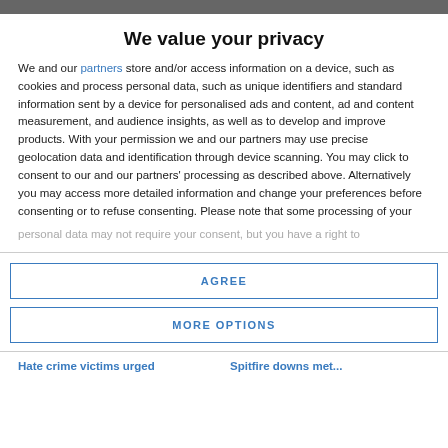We value your privacy
We and our partners store and/or access information on a device, such as cookies and process personal data, such as unique identifiers and standard information sent by a device for personalised ads and content, ad and content measurement, and audience insights, as well as to develop and improve products. With your permission we and our partners may use precise geolocation data and identification through device scanning. You may click to consent to our and our partners' processing as described above. Alternatively you may access more detailed information and change your preferences before consenting or to refuse consenting. Please note that some processing of your personal data may not require your consent, but you have a right to
AGREE
MORE OPTIONS
Hate crime victims urged    Spitfire downs met...